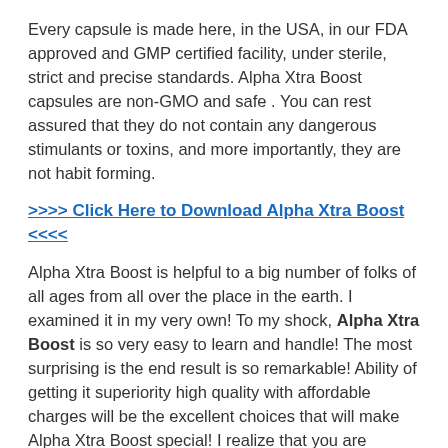Every capsule is made here, in the USA, in our FDA approved and GMP certified facility, under sterile, strict and precise standards. Alpha Xtra Boost capsules are non-GMO and safe . You can rest assured that they do not contain any dangerous stimulants or toxins, and more importantly, they are not habit forming.
>>>> Click Here to Download Alpha Xtra Boost <<<<
Alpha Xtra Boost is helpful to a big number of folks of all ages from all over the place in the earth. I examined it in my very own! To my shock, Alpha Xtra Boost is so very easy to learn and handle! The most surprising is the end result is so remarkable! Ability of getting it superiority high quality with affordable charges will be the excellent choices that will make Alpha Xtra Boost special! I realize that you are looking for a highly effective system which